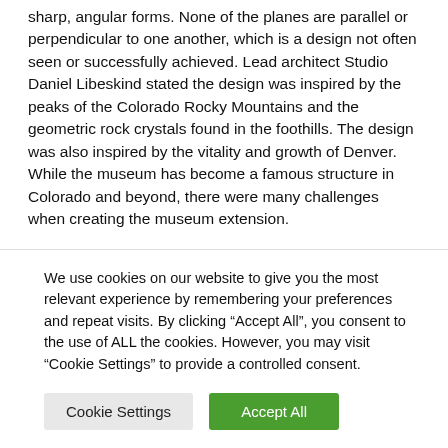sharp, angular forms. None of the planes are parallel or perpendicular to one another, which is a design not often seen or successfully achieved. Lead architect Studio Daniel Libeskind stated the design was inspired by the peaks of the Colorado Rocky Mountains and the geometric rock crystals found in the foothills. The design was also inspired by the vitality and growth of Denver. While the museum has become a famous structure in Colorado and beyond, there were many challenges when creating the museum extension.
One challenge the architects and engineers faced was designing the building for the atmospheric effects.
We use cookies on our website to give you the most relevant experience by remembering your preferences and repeat visits. By clicking “Accept All”, you consent to the use of ALL the cookies. However, you may visit "Cookie Settings" to provide a controlled consent.